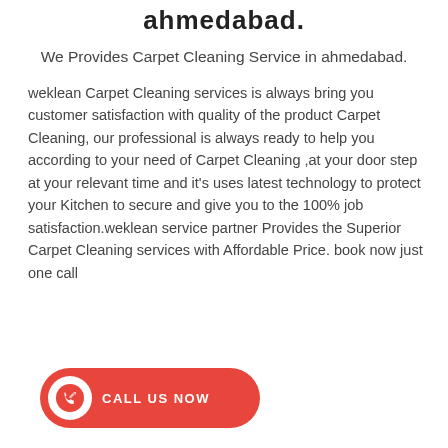ahmedabad.
We Provides Carpet Cleaning Service in ahmedabad.
weklean Carpet Cleaning services is always bring you customer satisfaction with quality of the product Carpet Cleaning, our professional is always ready to help you according to your need of Carpet Cleaning ,at your door step at your relevant time and it's uses latest technology to protect your Kitchen to secure and give you to the 100% job satisfaction.weklean service partner Provides the Superior Carpet Cleaning services with Affordable Price. book now just one call
[Figure (other): Red call-to-action button with phone icon and text CALL US NOW]